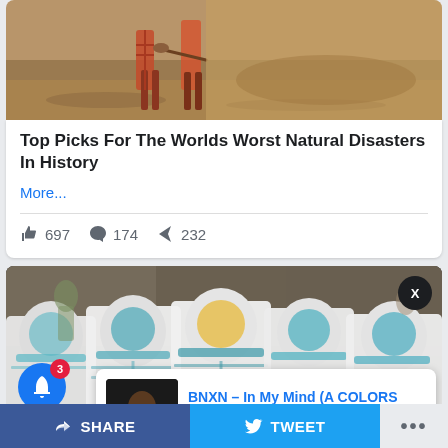[Figure (photo): Top portion of a photo showing people on sandy/muddy ground, natural disaster scene]
Top Picks For The Worlds Worst Natural Disasters In History
More...
👍 697   💬 174   ➤ 232
[Figure (photo): People in white PPE hazmat suits with blue trim and face masks walking in a street]
BNXN – In My Mind (A COLORS Show)
7 hours ago
SHARE   TWEET   •••